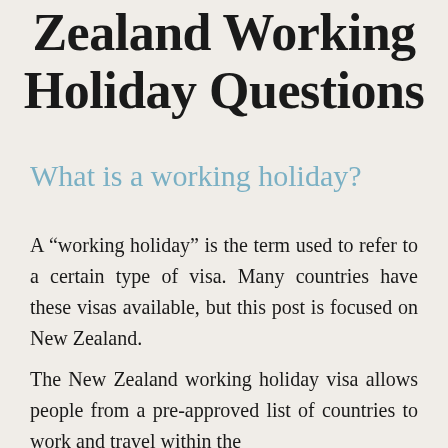Zealand Working Holiday Questions
What is a working holiday?
A “working holiday” is the term used to refer to a certain type of visa. Many countries have these visas available, but this post is focused on New Zealand.
The New Zealand working holiday visa allows people from a pre-approved list of countries to work and travel within the